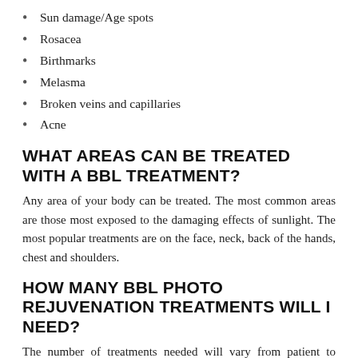Sun damage/Age spots
Rosacea
Birthmarks
Melasma
Broken veins and capillaries
Acne
WHAT AREAS CAN BE TREATED WITH A BBL TREATMENT?
Any area of your body can be treated. The most common areas are those most exposed to the damaging effects of sunlight. The most popular treatments are on the face, neck, back of the hands, chest and shoulders.
HOW MANY BBL PHOTO REJUVENATION TREATMENTS WILL I NEED?
The number of treatments needed will vary from patient to patient. Kristin Gunn will personalize a treatment plan based on the level of improvement you desire. As your experienced Photofacial provider,